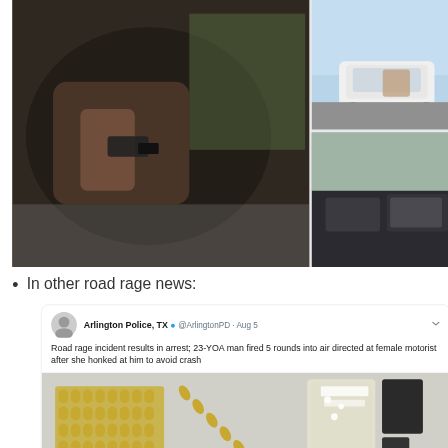[Figure (photo): Collage of car road rage incident photos: close-up of person holding gun out car window, white car on highway, and interior dashboard view.]
In other road rage news:
[Figure (screenshot): Screenshot of a tweet by Arlington Police, TX (@ArlingtonPD) dated Aug 5 reading: 'Road rage incident results in arrest; 23-YOA man fired 5 rounds into air directed at female motorist after she honked at him to avoid crash', with a photo of a handgun, ammunition, and magazines laid out on a table.]
Jerry Jones' speech at his induction into the Hall of Fame was equally fantastic and crazy. (Mrs. LL